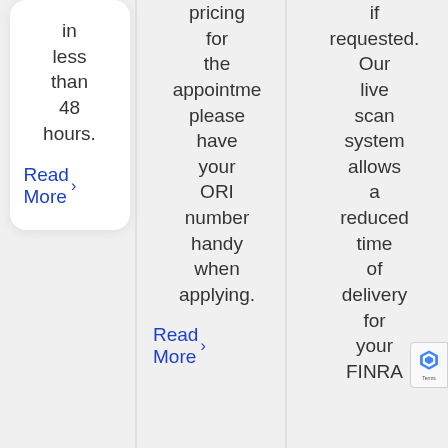in less than 48 hours.
Read More ›
pricing for the appointment please have your ORI number handy when applying.
Read More ›
if requested. Our live scan system allows a reduced time of delivery for your FINRA